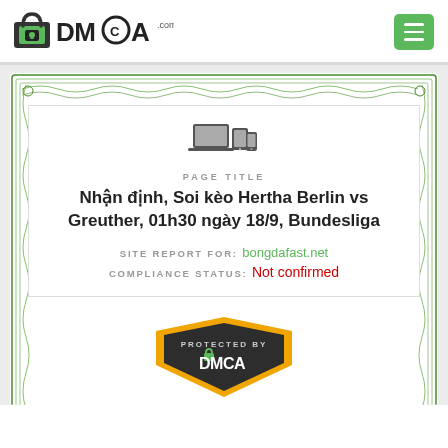[Figure (logo): DMCA.com logo with padlock icon and text DMCA .com]
[Figure (other): Green hamburger menu button with three horizontal white lines]
[Figure (other): Green guilloché decorative certificate border surrounding inner certificate card]
[Figure (other): Device icons (laptop, tablet, phone) in dark gray above PAGE TITLE label]
PAGE TITLE
Nhận định, Soi kèo Hertha Berlin vs Greuther, 01h30 ngày 18/9, Bundesliga
SITE REPORT FOR: bongdafast.net
COMPLIANCE STATUS: Not confirmed
[Figure (logo): PROTECTED BY DMCA badge: dark shield with orange border, padlock icon, and DMCA text]